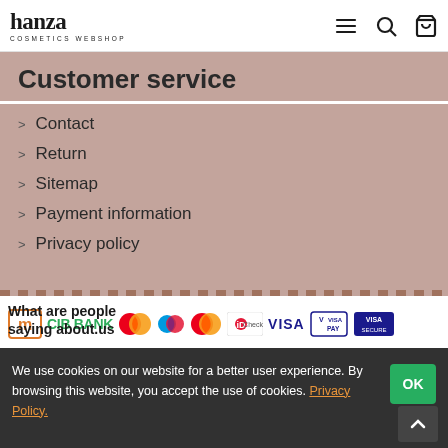hanza COSMETICS WEBSHOP
Customer service
Contact
Return
Sitemap
Payment information
Privacy policy
[Figure (logo): CIB BANK logo with Mastercard, Maestro, Mastercard, iD Check, VISA, VISA PAY, VISA SECURE payment icons]
What are people saying about.us
We use cookies on our website for a better user experience. By browsing this website, you accept the use of cookies. Privacy Policy.